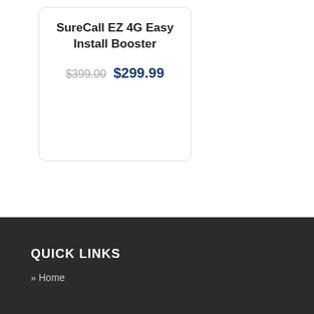SureCall EZ 4G Easy Install Booster
$399.00 $299.99
QUICK LINKS
» Home